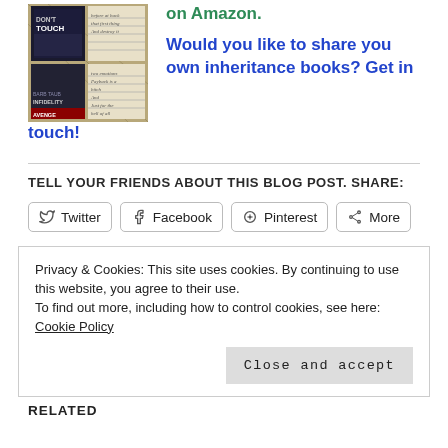[Figure (illustration): A collage of book covers showing 'Don't Touch' and another book by Barb Taub, arranged on a patterned background with handwritten notes.]
on Amazon.
Would you like to share you own inheritance books? Get in touch!
TELL YOUR FRIENDS ABOUT THIS BLOG POST. SHARE:
Twitter  Facebook  Pinterest  More
Privacy & Cookies: This site uses cookies. By continuing to use this website, you agree to their use.
To find out more, including how to control cookies, see here: Cookie Policy
Close and accept
RELATED